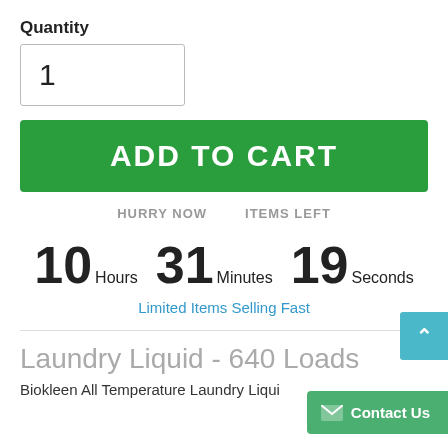Quantity
1
ADD TO CART
HURRY NOW    ITEMS LEFT
10 Hours 31 Minutes 19 Seconds
Limited Items Selling Fast
Laundry Liquid - 640 Loads
Biokleen All Temperature Laundry Liqui